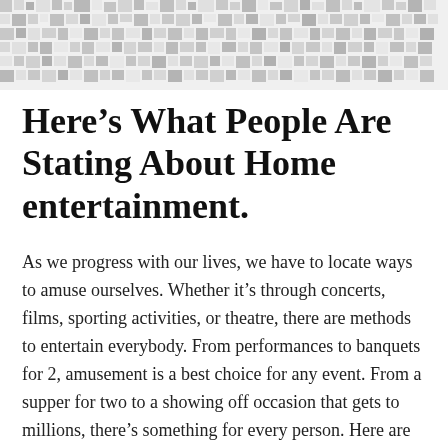[Figure (other): Decorative mosaic/pixel pattern header banner in grey and white tones]
Here’s What People Are Stating About Home entertainment.
As we progress with our lives, we have to locate ways to amuse ourselves. Whether it’s through concerts, films, sporting activities, or theatre, there are methods to entertain everybody. From performances to banquets for 2, amusement is a best choice for any event. From a supper for two to a showing off occasion that gets to millions, there’s something for every person. Here are some ways to take pleasure in a night out on the town!